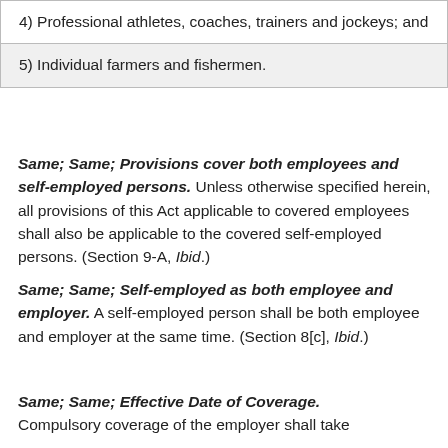| 4) Professional athletes, coaches, trainers and jockeys; and |
| 5) Individual farmers and fishermen. |
Same; Same; Provisions cover both employees and self-employed persons. Unless otherwise specified herein, all provisions of this Act applicable to covered employees shall also be applicable to the covered self-employed persons. (Section 9-A, Ibid.)
Same; Same; Self-employed as both employee and employer. A self-employed person shall be both employee and employer at the same time. (Section 8[c], Ibid.)
Same; Same; Effective Date of Coverage. Compulsory coverage of the employer shall take